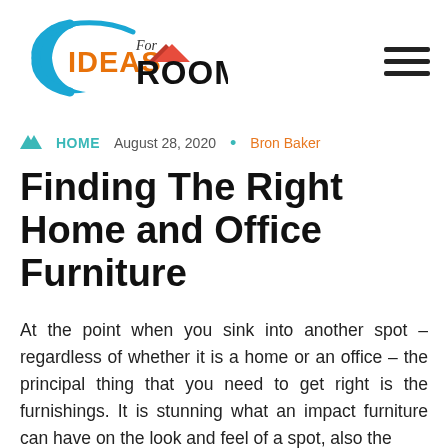[Figure (logo): Ideas For Room logo with blue swoosh, orange and black text, red house roof icon]
HOME   August 28, 2020  •  Bron Baker
Finding The Right Home and Office Furniture
At the point when you sink into another spot – regardless of whether it is a home or an office – the principal thing that you need to get right is the furnishings. It is stunning what an impact furniture can have on the look and feel of a spot, also the